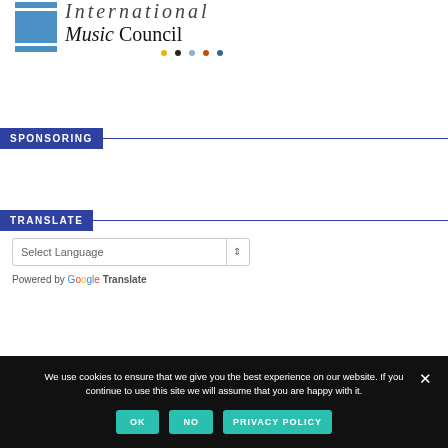[Figure (logo): International Music Council logo with blue bars/square on left and italic/serif text on right, colored dots below]
SPONSORING
TRANSLATE
Select Language
Powered by Google Translate
We use cookies to ensure that we give you the best experience on our website. If you continue to use this site we will assume that you are happy with it.
OK
NO
PRIVACY POLICY